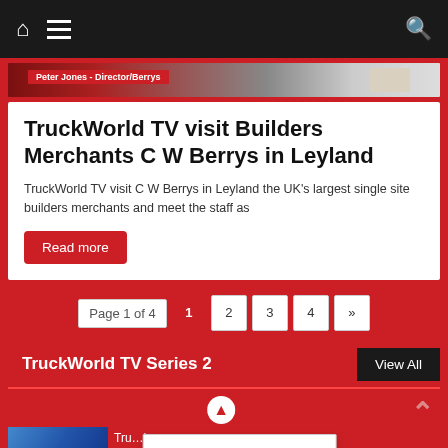Navigation bar with home, menu, and search icons
[Figure (photo): Partial banner image with text 'Peter Jones - Director/Berrys' on red background]
TruckWorld TV visit Builders Merchants C W Berrys in Leyland
TruckWorld TV visit C W Berrys in Leyland the UK's largest single site builders merchants and meet the staff as
Read more
Page 1 of 4  1  2  3  4  »
TruckWorld TV Series 2
View All
[Figure (photo): Partial thumbnail image of truck/vehicle at bottom of page]
Tru...k
Privacy & Cookies Policy